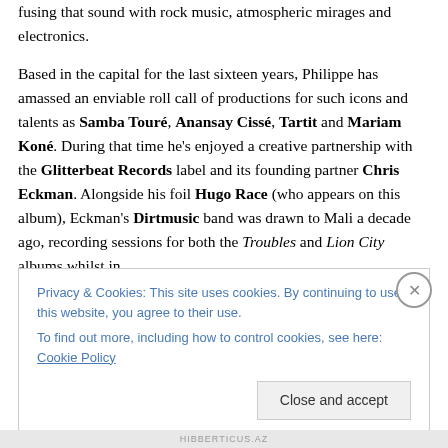fusing that sound with rock music, atmospheric mirage and electronics.
Based in the capital for the last sixteen years, Philippe has amassed an enviable roll call of productions for such icons and talents as Samba Touré, Anansay Cissé, Tartit and Mariam Koné. During that time he's enjoyed a creative partnership with the Glitterbeat Records label and its founding partner Chris Eckman. Alongside his foil Hugo Race (who appears on this album), Eckman's Dirtmusic band was drawn to Mali a decade ago, recording sessions for both the Troubles and Lion City albums whilst in
Privacy & Cookies: This site uses cookies. By continuing to use this website, you agree to their use.
To find out more, including how to control cookies, see here: Cookie Policy